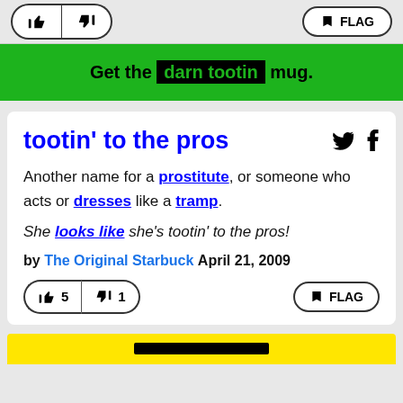[Figure (screenshot): Top bar with thumbs up (no label) and thumbs down buttons, plus a flag button on right]
Get the darn tootin mug.
tootin' to the pros
Another name for a prostitute, or someone who acts or dresses like a tramp.
She looks like she's tootin' to the pros!
by The Original Starbuck April 21, 2009
[Figure (screenshot): Vote buttons: thumbs up 5, thumbs down 1, FLAG button]
[Figure (screenshot): Yellow banner at bottom with black bar]